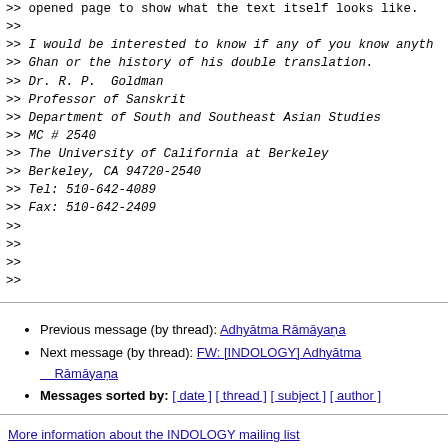>> opened page to show what the text itself looks like.
>>
>> I would be interested to know if any of you know anyth
>> Ghan or the history of his double translation.
>> Dr. R. P.  Goldman
>> Professor of Sanskrit
>> Department of South and Southeast Asian Studies
>> MC # 2540
>> The University of California at Berkeley
>> Berkeley, CA 94720-2540
>> Tel: 510-642-4089
>> Fax: 510-642-2409
>>
>>
>>
>>
Previous message (by thread): Adhyātma Rāmāyaṇa
Next message (by thread): FW: [INDOLOGY] Adhyātma Rāmāyaṇa
Messages sorted by: [ date ] [ thread ] [ subject ] [ author ]
More information about the INDOLOGY mailing list